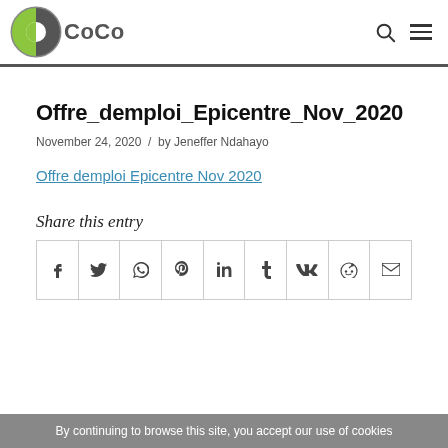CoCo
Offre_demploi_Epicentre_Nov_2020
November 24, 2020 / by Jeneffer Ndahayo
Offre demploi Epicentre Nov 2020
Share this entry
By continuing to browse this site, you accept our use of cookies